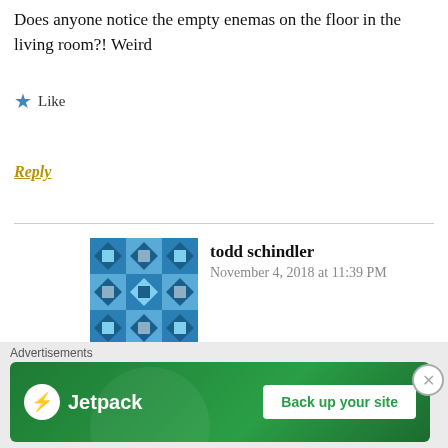Does anyone notice the empty enemas on the floor in the living room?! Weird
★ Like
Reply
todd schindler
November 4, 2018 at 11:39 PM
haha ya I did...some butt play I geuss
★ Like
[Figure (other): Jetpack advertisement banner with logo and 'Back up your site' button]
Advertisements